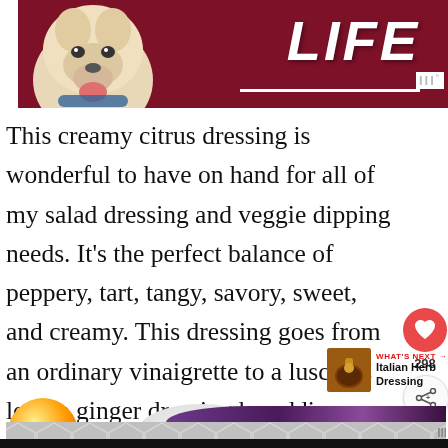[Figure (photo): Banner with dog photo on dark red/maroon background with 'LIFE' text in large white italic letters and a white underline. Watermark 'III°' in top right corner.]
This creamy citrus dressing is wonderful to have on hand for all of my salad dressing and veggie dipping needs. It's the perfect balance of peppery, tart, tangy, savory, sweet, and creamy. This dressing goes from an ordinary vinaigrette to a luscious lemon ginger dressing by adding Greek yogurt.
[Figure (infographic): Heart (like) button showing 298 likes, and a share button with plus icon, floating on right side]
[Figure (screenshot): What's Next promo box with thumbnail image of Italian Herb Dressing jar, label 'WHAT'S NEXT →', and title 'Italian Herb Dressing']
[Figure (photo): Food photo at bottom showing orange/citrus fruit and salad bowl with purple cabbage, partially visible. Below is a grey geometric hexagon pattern bar with III° watermark.]